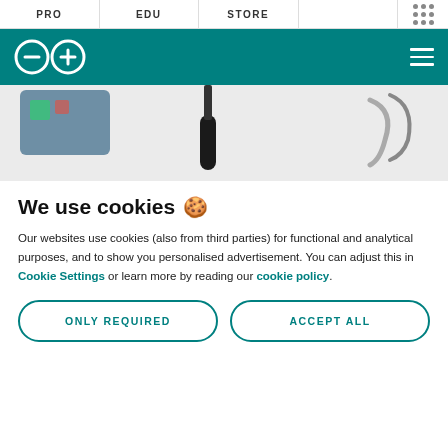PRO | EDU | STORE
[Figure (logo): Arduino logo (infinity symbol with minus and plus) on teal header bar with hamburger menu icon]
[Figure (photo): Partial view of Arduino board and tools on light gray background]
We use cookies 🍪
Our websites use cookies (also from third parties) for functional and analytical purposes, and to show you personalised advertisement. You can adjust this in Cookie Settings or learn more by reading our cookie policy.
ONLY REQUIRED
ACCEPT ALL